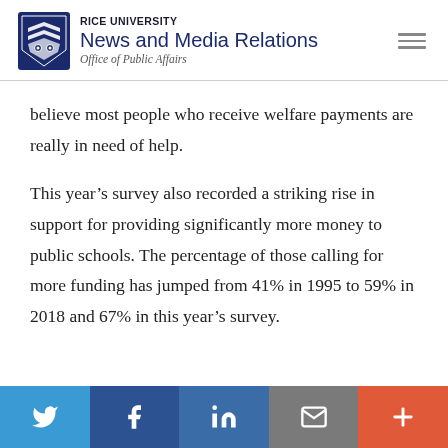RICE UNIVERSITY News and Media Relations Office of Public Affairs
believe most people who receive welfare payments are really in need of help.
This year’s survey also recorded a striking rise in support for providing significantly more money to public schools. The percentage of those calling for more funding has jumped from 41% in 1995 to 59% in 2018 and 67% in this year’s survey.
Social share buttons: Twitter, Facebook, LinkedIn, Email, More